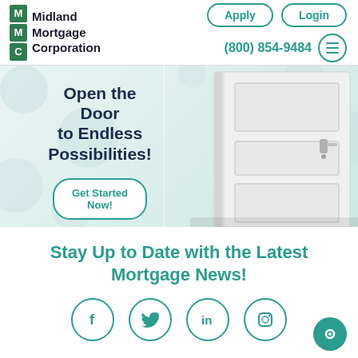[Figure (logo): Midland Mortgage Corporation logo with green M, M, C grid and company name]
Apply
Login
(800) 854-9484
[Figure (illustration): Hero banner with large white door open on right side and decorative light blue polka dot background]
Open the Door to Endless Possibilities!
Get Started Now!
Stay Up to Date with the Latest Mortgage News!
[Figure (illustration): Social media icons row: Facebook, Twitter, LinkedIn, Instagram circles with teal borders]